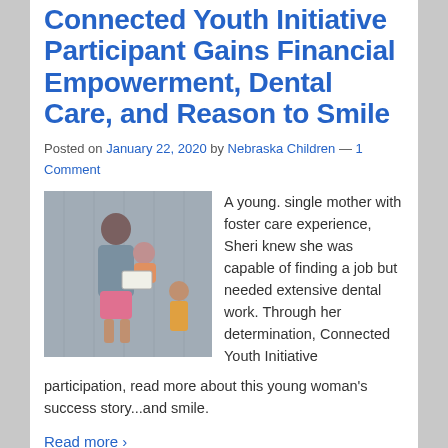Connected Youth Initiative Participant Gains Financial Empowerment, Dental Care, and Reason to Smile
Posted on January 22, 2020 by Nebraska Children — 1 Comment
[Figure (photo): A young woman holding a baby and a check, standing in front of a building with a young girl nearby]
A young. single mother with foster care experience, Sheri knew she was capable of finding a job but needed extensive dental work. Through her determination, Connected Youth Initiative participation, read more about this young woman's success story...and smile.
Read more ›